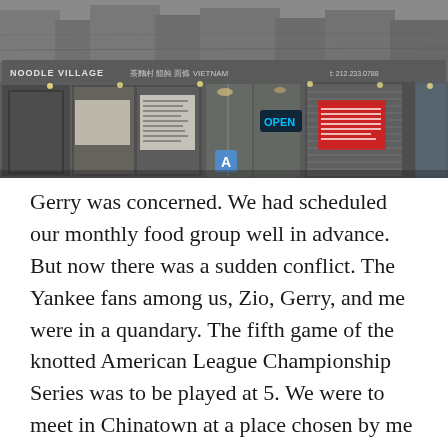[Figure (photo): Exterior storefront photo of Noodle Village restaurant in Chinatown. The facade shows glass doors with an OPEN neon sign lit up in blue, menus posted in the windows, warm interior lighting visible through the glass, and a vintage black-and-white city street mural along the top of the building. The restaurant sign reads 'Noodle Village' with Chinese characters.]
Gerry was concerned. We had scheduled our monthly food group well in advance. But now there was a sudden conflict. The Yankee fans among us, Zio, Gerry, and me were in a quandary. The fifth game of the knotted American League Championship Series was to be played at 5. We were to meet in Chinatown at a place chosen by me called Noodle Village at 7:30.
“Time to reschedule,” Gerry wrote in an urgent email once the Yankee schedule was confirmed. “We got an important